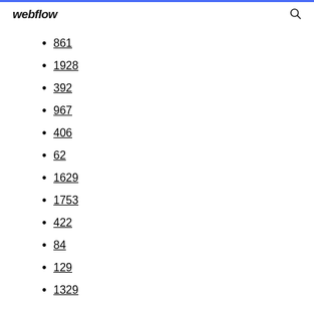webflow
861
1928
392
967
406
62
1629
1753
422
84
129
1329